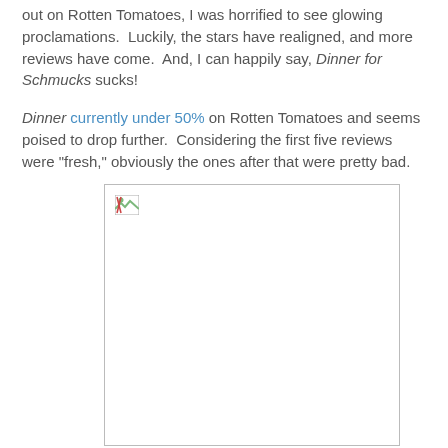out on Rotten Tomatoes, I was horrified to see glowing proclamations.  Luckily, the stars have realigned, and more reviews have come.  And, I can happily say, Dinner for Schmucks sucks!
Dinner currently under 50% on Rotten Tomatoes and seems poised to drop further.  Considering the first five reviews were "fresh," obviously the ones after that were pretty bad.
[Figure (photo): Broken image placeholder — a partially loaded image with a small broken image icon in the top-left corner, inside a rectangular bordered box.]